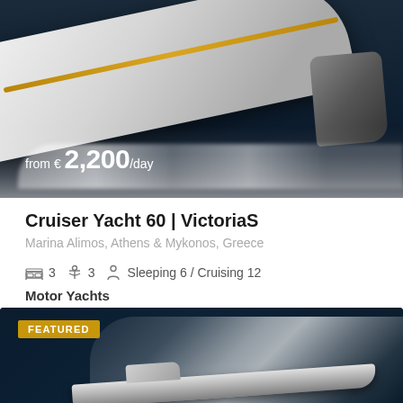[Figure (photo): Aerial view of a white motor yacht speeding through dark water, with price overlay showing 'from € 2,200/day']
Cruiser Yacht 60 | VictoriaS
Marina Alimos, Athens & Mykonos, Greece
🛏 3  ⚓ 3  👤 Sleeping 6 / Cruising 12
Motor Yachts
[Figure (photo): Aerial view of a motor yacht with FEATURED badge, speeding through dark blue water creating a large white wake]